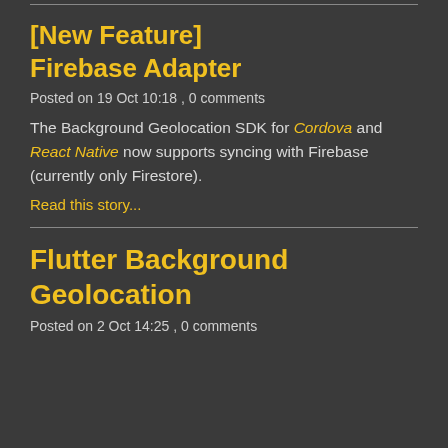[New Feature] Firebase Adapter
Posted on 19 Oct 10:18 , 0 comments
The Background Geolocation SDK for Cordova and React Native now supports syncing with Firebase (currently only Firestore).
Read this story...
Flutter Background Geolocation
Posted on 2 Oct 14:25 , 0 comments